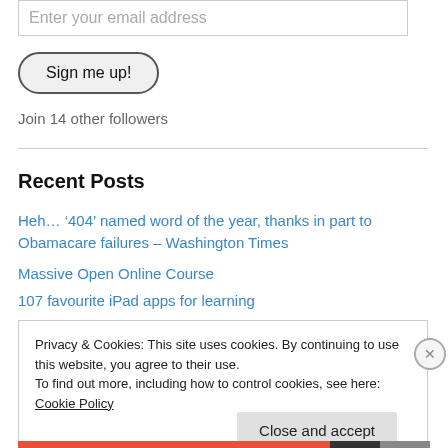Enter your email address
Sign me up!
Join 14 other followers
Recent Posts
Heh… '404' named word of the year, thanks in part to Obamacare failures – Washington Times
Massive Open Online Course
107 favourite iPad apps for learning
Privacy & Cookies: This site uses cookies. By continuing to use this website, you agree to their use. To find out more, including how to control cookies, see here: Cookie Policy
Close and accept